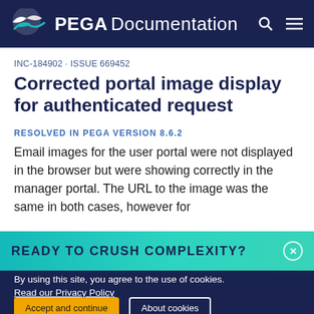PEGA Documentation
INC-184902 · ISSUE 669452
Corrected portal image display for authenticated request
RESOLVED IN PEGA VERSION 8.6.2
Email images for the user portal were not displayed in the browser but were showing correctly in the manager portal. The URL to the image was the same in both cases, however for
READY TO CRUSH COMPLEXITY?
By using this site, you agree to the use of cookies. Read our Privacy Policy
Accept and continue   About cookies